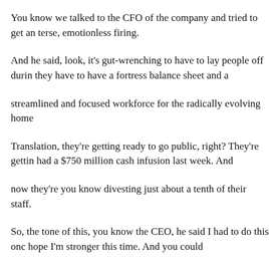You know we talked to the CFO of the company and tried to get an terse, emotionless firing.
And he said, look, it's gut-wrenching to have to lay people off durin they have to have a fortress balance sheet and a
streamlined and focused workforce for the radically evolving home
Translation, they're getting ready to go public, right? They're gettin had a $750 million cash infusion last week. And
now they're you know divesting just about a tenth of their staff.
So, the tone of this, you know the CEO, he said I had to do this onc hope I'm stronger this time. And you could